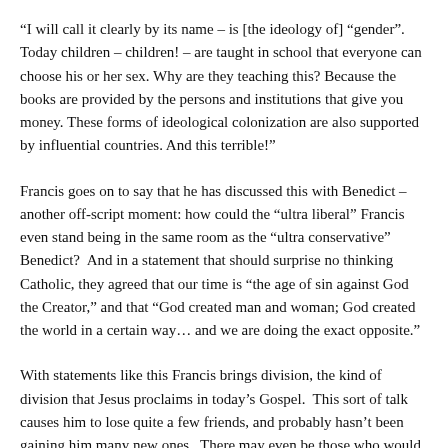“I will call it clearly by its name – is [the ideology of] “gender”. Today children – children! – are taught in school that everyone can choose his or her sex. Why are they teaching this? Because the books are provided by the persons and institutions that give you money. These forms of ideological colonization are also supported by influential countries. And this terrible!”
Francis goes on to say that he has discussed this with Benedict – another off-script moment: how could the “ultra liberal” Francis even stand being in the same room as the “ultra conservative” Benedict?  And in a statement that should surprise no thinking Catholic, they agreed that our time is “the age of sin against God the Creator,” and that “God created man and woman; God created the world in a certain way… and we are doing the exact opposite.”
With statements like this Francis brings division, the kind of division that Jesus proclaims in today’s Gospel.  This sort of talk causes him to lose quite a few friends, and probably hasn’t been gaining him many new ones.  There may even be those who would want to do to him what was done to Jeremiah in this world’s first reading – throw him in the bottom of a cistern… But…